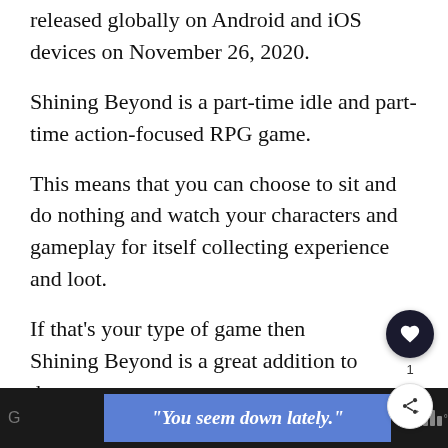released globally on Android and iOS devices on November 26, 2020.
Shining Beyond is a part-time idle and part-time action-focused RPG game.
This means that you can choose to sit and do nothing and watch your characters and gameplay for itself collecting experience and loot.
If that’s your type of game then Shining Beyond is a great addition to the genre.
[Figure (other): Social interaction buttons: heart/like button (dark circle with heart icon) with count '1', and a share button below it]
Advertisement banner: “You seem down lately.” on blue background; Tidal logo on dark footer bar